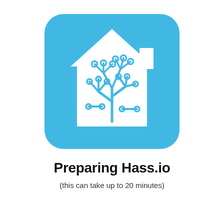[Figure (logo): Home Assistant (Hass.io) logo: a rounded-square blue background with a white house silhouette containing a blue circuit-tree design inside]
Preparing Hass.io
(this can take up to 20 minutes)